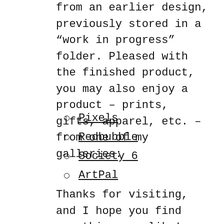from an earlier design, previously stored in a “work in progress” folder. Pleased with the finished product, you may also enjoy a product – prints, gifts, apparel, etc. – from one of my galleries:
Pixels
Redbubble
Society 6
ArtPal
Thanks for visiting, and I hope you find something you like! August 18, 2022